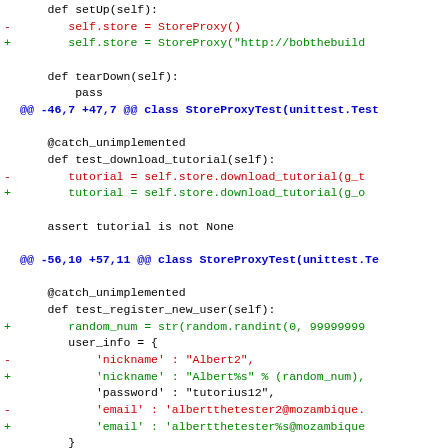Code diff showing changes to StoreProxy test setup and test methods
def setUp(self):
-       self.store = StoreProxy()
+       self.store = StoreProxy("http://bobthebuild

    def tearDown(self):
        pass
@@ -46,7 +47,7 @@ class StoreProxyTest(unittest.Test

    @catch_unimplemented
    def test_download_tutorial(self):
-       tutorial = self.store.download_tutorial(g_t
+       tutorial = self.store.download_tutorial(g_o

    assert tutorial is not None

@@ -56,10 +57,11 @@ class StoreProxyTest(unittest.Te

    @catch_unimplemented
    def test_register_new_user(self):
+       random_num = str(random.randint(0, 99999999
        user_info = {
-           'nickname' : "Albert2",
+           'nickname' : "Albert%s" % (random_num),
            'password' : "tutorius12",
-           'email' : 'albertthetester2@mozambique.
+           'email' : 'albertthetester%s@mozambique
        }

    assert self.store.register_new_user(user_in
@@ -68,8 +70,8 @@ class StoreProxyTest(unittest.Test